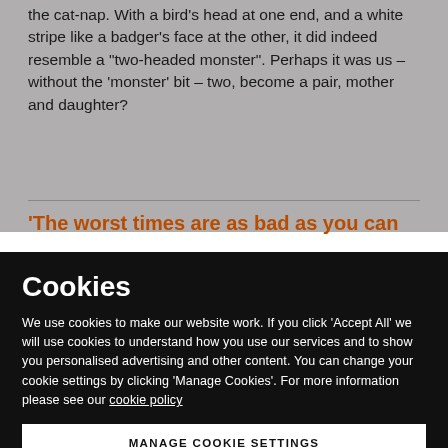the cat-nap. With a bird's head at one end, and a white stripe like a badger's face at the other, it did indeed resemble a "two-headed monster". Perhaps it was us – without the 'monster' bit – two, become a pair, mother and daughter?
'The worst times are as bad as you can
Cookies
We use cookies to make our website work. If you click 'Accept All' we will use cookies to understand how you use our services and to show you personalised advertising and other content. You can change your cookie settings by clicking 'Manage Cookies'. For more information please see our cookie policy
MANAGE COOKIE SETTINGS
ACCEPT ALL COOKIES